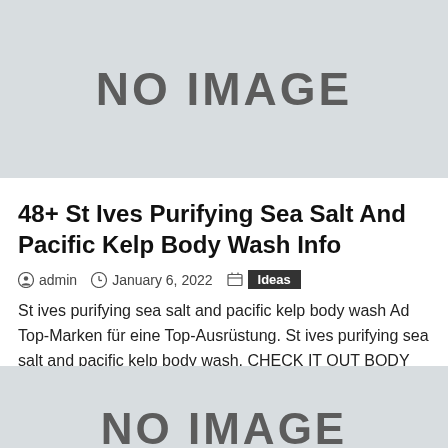[Figure (illustration): Gray placeholder box with 'NO IMAGE' text in large bold dark letters]
48+ St Ives Purifying Sea Salt And Pacific Kelp Body Wash Info
admin   January 6, 2022   Ideas
St ives purifying sea salt and pacific kelp body wash Ad Top-Marken für eine Top-Ausrüstung. St ives purifying sea salt and pacific kelp body wash. CHECK IT OUT BODY WASH. Purifying Sea Salt Pacific Kelp Body Wash. Let your face have a little good clean fun. Ad Ives Saint zum [...]
[Figure (illustration): Second gray placeholder box with partial 'NO IMAGE' text visible at bottom, cropped]